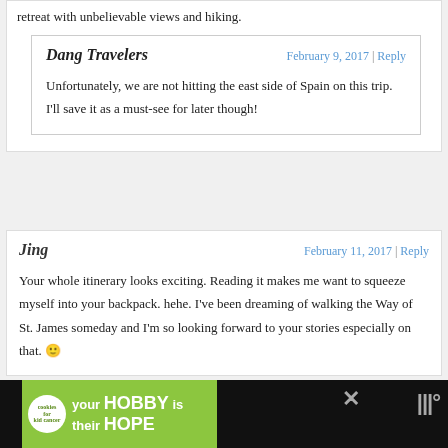retreat with unbelievable views and hiking.
Dang Travelers
February 9, 2017 | Reply
Unfortunately, we are not hitting the east side of Spain on this trip. I'll save it as a must-see for later though!
Jing
February 11, 2017 | Reply
Your whole itinerary looks exciting. Reading it makes me want to squeeze myself into your backpack. hehe. I've been dreaming of walking the Way of St. James someday and I'm so looking forward to your stories especially on that. 🙂
[Figure (infographic): Advertisement banner at bottom: cookies for kid cancer, 'your HOBBY is their HOPE']